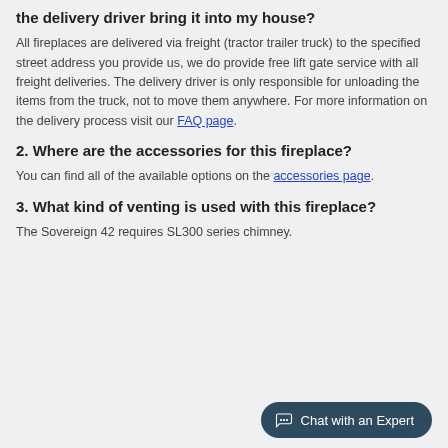the delivery driver bring it into my house?
All fireplaces are delivered via freight (tractor trailer truck) to the specified street address you provide us, we do provide free lift gate service with all freight deliveries. The delivery driver is only responsible for unloading the items from the truck, not to move them anywhere. For more information on the delivery process visit our FAQ page.
2. Where are the accessories for this fireplace?
You can find all of the available options on the accessories page.
3. What kind of venting is used with this fireplace?
The Sovereign 42 requires SL300 series chimney.
[Figure (other): Chat with an Expert button widget in bottom right corner]